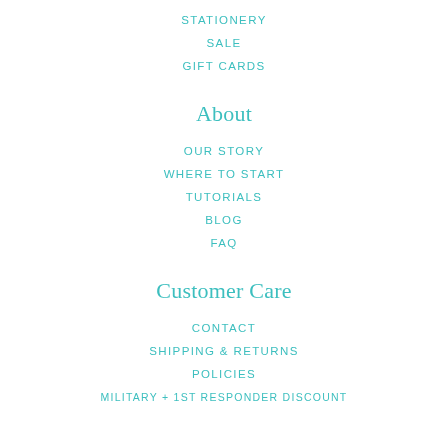STATIONERY
SALE
GIFT CARDS
About
OUR STORY
WHERE TO START
TUTORIALS
BLOG
FAQ
Customer Care
CONTACT
SHIPPING & RETURNS
POLICIES
MILITARY + 1ST RESPONDER DISCOUNT